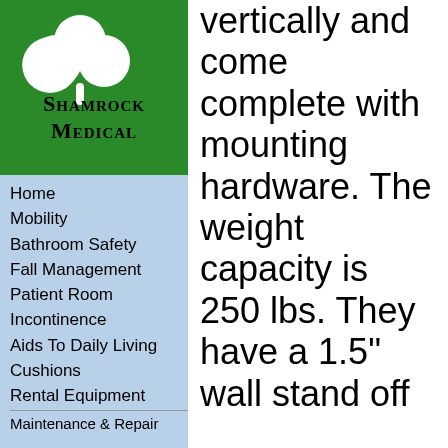[Figure (logo): Shamrock Medical logo — white shamrock on green background with text 'Shamrock Medical' in decorative black font]
Home
Mobility
Bathroom Safety
Fall Management
Patient Room
Incontinence
Aids To Daily Living
Cushions
Rental Equipment
Maintenance & Repair
vertically and come complete with mounting hardware. The weight capacity is 250 lbs. They have a 1.5" wall stand off